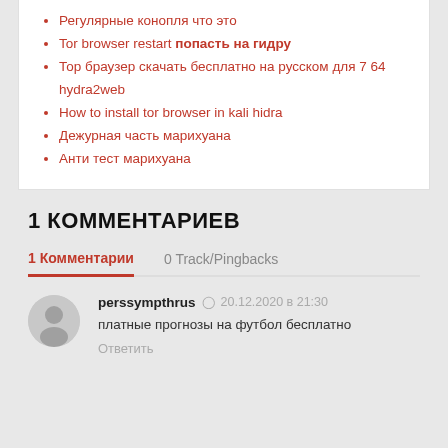Регулярные конопля что это
Tor browser restart попасть на гидру
Тор браузер скачать бесплатно на русском для 7 64 hydra2web
How to install tor browser in kali hidra
Дежурная часть марихуана
Анти тест марихуана
1 КОММЕНТАРИЕВ
1 Комментарии   0 Track/Pingbacks
perssympthrus  20.12.2020 в 21:30
платные прогнозы на футбол бесплатно
Ответить